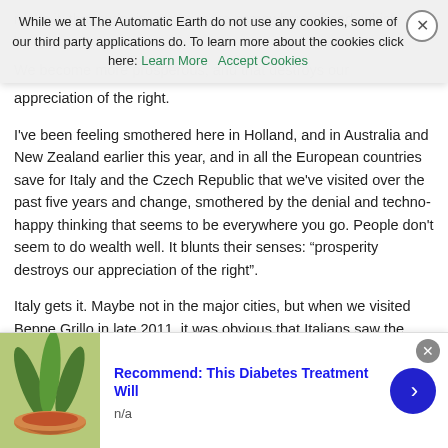We become more prosperous, and that destroys our appreciation of the right.
I've been feeling smothered here in Holland, and in Australia and New Zealand earlier this year, and in all the European countries save for Italy and the Czech Republic that we've visited over the past five years and change, smothered by the denial and techno-happy thinking that seems to be everywhere you go. People don't seem to do wealth well. It blunts their senses: “prosperity destroys our appreciation of the right”.
Italy gets it. Maybe not in the major cities, but when we visited Beppe Grillo in late 2011, it was obvious that Italians saw the writing on the wall. Slovakia was in the eurozone and was just starting to receive all those big EU loans that are now haunting the PIIGS, who got them years earlier.
While we at The Automatic Earth do not use any cookies, some of our third party applications do. To learn more about the cookies click here: Learn More   Accept Cookies
Recommend: This Diabetes Treatment Will
n/a